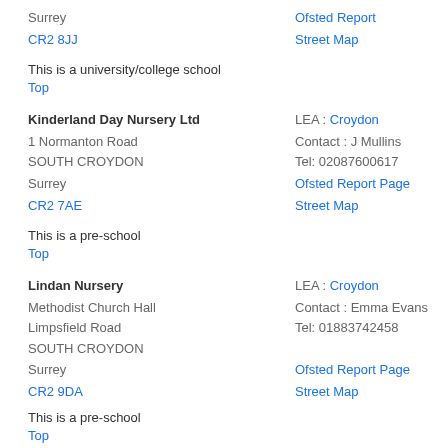Surrey
CR2 8JJ
Ofsted Report
Street Map
This is a university/college school
Top
Kinderland Day Nursery Ltd
1 Normanton Road
SOUTH CROYDON
Surrey
CR2 7AE
LEA : Croydon
Contact : J Mullins
Tel: 02087600617
Ofsted Report Page
Street Map
This is a pre-school
Top
Lindan Nursery
Methodist Church Hall
Limpsfield Road
SOUTH CROYDON
Surrey
CR2 9DA
LEA : Croydon
Contact : Emma Evans
Tel: 01883742458
Ofsted Report Page
Street Map
This is a pre-school
Top